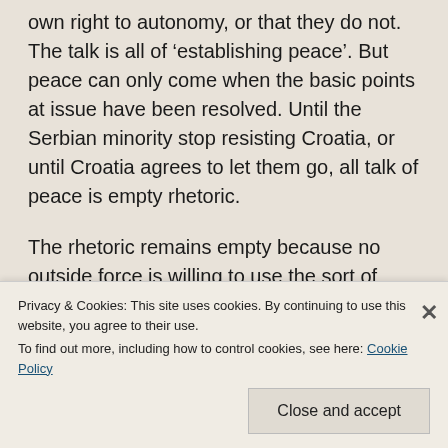own right to autonomy, or that they do not. The talk is all of 'establishing peace'. But peace can only come when the basic points at issue have been resolved. Until the Serbian minority stop resisting Croatia, or until Croatia agrees to let them go, all talk of peace is empty rhetoric.

The rhetoric remains empty because no outside force is willing to use the sort of military power that might make one side or the other lose the will to defend what it sees as legitimate national rights. The Iraqis have not
Privacy & Cookies: This site uses cookies. By continuing to use this website, you agree to their use.
To find out more, including how to control cookies, see here: Cookie Policy